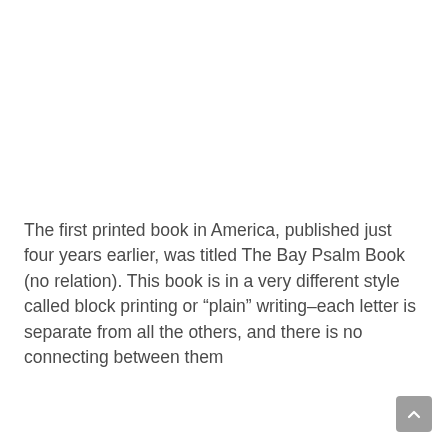The first printed book in America, published just four years earlier, was titled The Bay Psalm Book (no relation). This book is in a very different style called block printing or “plain” writing–each letter is separate from all the others, and there is no connecting between them